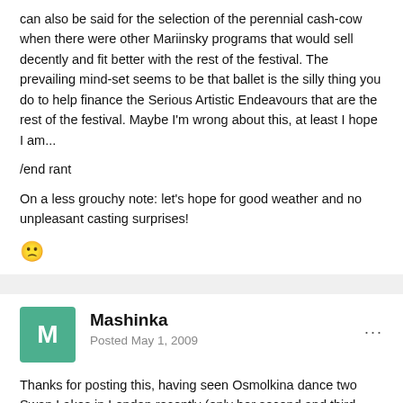can also be said for the selection of the perennial cash-cow when there were other Mariinsky programs that would sell decently and fit better with the rest of the festival. The prevailing mind-set seems to be that ballet is the silly thing you do to help finance the Serious Artistic Endeavours that are the rest of the festival. Maybe I'm wrong about this, at least I hope I am...
/end rant
On a less grouchy note: let's hope for good weather and no unpleasant casting surprises!
[Figure (other): A frowning/sad emoji face (yellow circle with worried expression)]
Mashinka
Posted May 1, 2009
Thanks for posting this, having seen Osmolkina dance two Swan Lakes in London recently (only her second and third attempts at the role), I'd say she's on course to be the greatest interpreter of this role for decades.